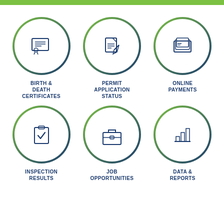[Figure (infographic): Six circular icons arranged in a 3x2 grid, each with a green-to-blue gradient border. Icons represent: Birth & Death Certificates (certificate icon), Permit Application Status (document with pen icon), Online Payments (credit card/payment icon), Inspection Results (clipboard with checkmark icon), Job Opportunities (briefcase icon), Data & Reports (bar chart icon).]
BIRTH & DEATH CERTIFICATES
PERMIT APPLICATION STATUS
ONLINE PAYMENTS
INSPECTION RESULTS
JOB OPPORTUNITIES
DATA & REPORTS